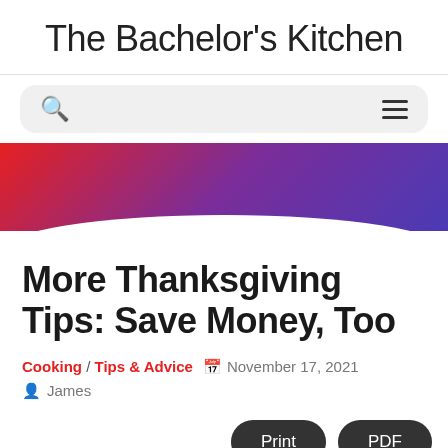The Bachelor's Kitchen
[Figure (screenshot): Navigation bar with search icon on the left and hamburger menu icon on the right, on a light gray pill-shaped background]
[Figure (illustration): Gradient banner with red-to-purple-to-indigo gradient, with white rounded bottom edge]
More Thanksgiving Tips: Save Money, Too
Cooking / Tips & Advice  November 17, 2021  James